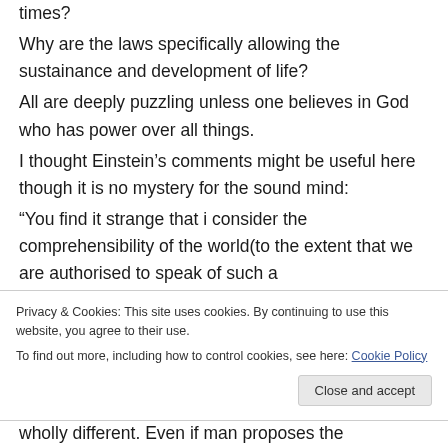times?
Why are the laws specifically allowing the sustainance and development of life?
All are deeply puzzling unless one believes in God who has power over all things.
I thought Einstein’s comments might be useful here though it is no mystery for the sound mind:
“You find it strange that i consider the comprehensibility of the world(to the extent that we are authorised to speak of such a
Privacy & Cookies: This site uses cookies. By continuing to use this website, you agree to their use.
To find out more, including how to control cookies, see here: Cookie Policy
wholly different. Even if man proposes the